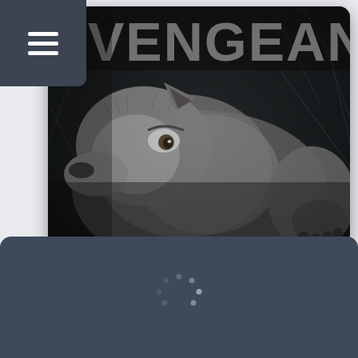[Figure (screenshot): Mobile app screenshot showing a podcast or media app. Top section has a dark hamburger menu icon on the left. A book/album cover image fills most of the upper portion showing the word VENGEANCE in large white bold text at the top, with a black and white photograph of a wolf looking to the side below it, on a dark atmospheric background. Below the cover image is a light blue-grey button labeled 'Access exclusive content'. Below that is a dark rounded button with an RSS icon and the text 'RSS'. The bottom portion shows a dark slate-blue panel with a loading spinner (dots in a circular arc) in the center.]